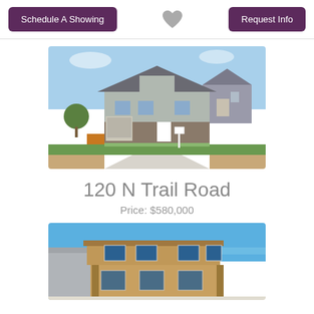Schedule A Showing
[Figure (illustration): Heart/favorite icon]
Request Info
[Figure (photo): Exterior photo of a two-story house with gray/taupe siding, stone accent, green lawn, and concrete driveway under blue sky]
120 N Trail Road
Price: $580,000
[Figure (photo): Exterior photo of a two-story house under construction, tan/brown OSB siding, blue sky background, partially visible neighboring structures]